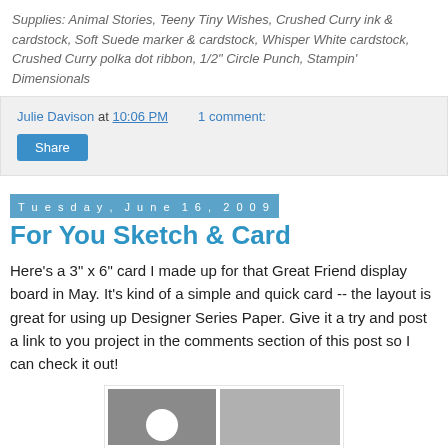Supplies: Animal Stories, Teeny Tiny Wishes, Crushed Curry ink & cardstock, Soft Suede marker & cardstock, Whisper White cardstock, Crushed Curry polka dot ribbon, 1/2" Circle Punch, Stampin' Dimensionals
Julie Davison at 10:06 PM   1 comment:
Share
Tuesday, June 16, 2009
For You Sketch & Card
Here's a 3" x 6" card I made up for that Great Friend display board in May. It's kind of a simple and quick card -- the layout is great for using up Designer Series Paper. Give it a try and post a link to you project in the comments section of this post so I can check it out!
[Figure (photo): A card sketch/photo showing a card design with grey panels and a circular white element]